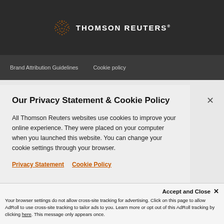[Figure (logo): Thomson Reuters logo with orange dot-pattern globe icon and white text 'THOMSON REUTERS' on dark background]
Brand Attribution Guidelines   Cookie policy
Our Privacy Statement & Cookie Policy
All Thomson Reuters websites use cookies to improve your online experience. They were placed on your computer when you launched this website. You can change your cookie settings through your browser.
Privacy Statement   Cookie Policy
Ok to continue
Accept and Close ✕
Your browser settings do not allow cross-site tracking for advertising. Click on this page to allow AdRoll to use cross-site tracking to tailor ads to you. Learn more or opt out of this AdRoll tracking by clicking here. This message only appears once.